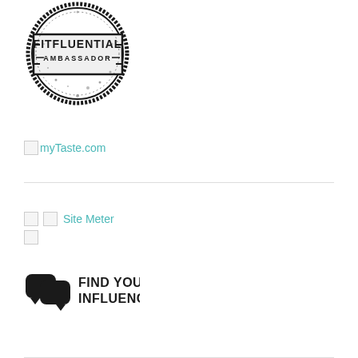[Figure (logo): FitFluential Ambassador circular stamp logo in black ink style]
[Figure (logo): myTaste.com broken image icon with teal text link 'myTaste.com']
[Figure (logo): Site Meter broken image icons with teal text link 'Site Meter']
[Figure (logo): Find Your Influence logo with two overlapping chat bubble icons and bold text 'FIND YOUR INFLUENCE']